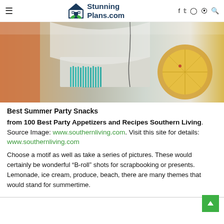StunningPlans.com
[Figure (photo): Close-up photo showing colorful food items: brushes with teal/cyan bristles, orange/yellow fruit slices, water drizzle, on a light background — summer party snacks imagery]
Best Summer Party Snacks
from 100 Best Party Appetizers and Recipes Southern Living. Source Image: www.southernliving.com. Visit this site for details: www.southernliving.com
Choose a motif as well as take a series of pictures. These would certainly be wonderful “B-roll” shots for scrapbooking or presents. Lemonade, ice cream, produce, beach, there are many themes that would stand for summertime.